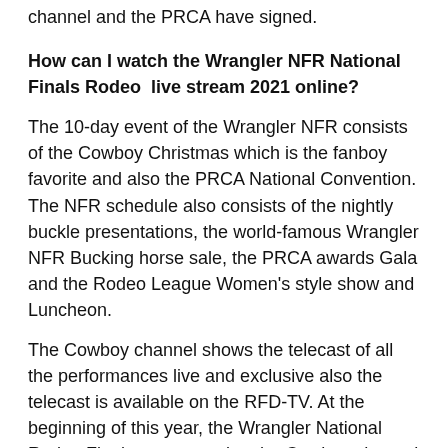channel and the PRCA have signed.
How can I watch the Wrangler NFR National Finals Rodeo  live stream 2021 online?
The 10-day event of the Wrangler NFR consists of the Cowboy Christmas which is the fanboy favorite and also the PRCA National Convention. The NFR schedule also consists of the nightly buckle presentations, the world-famous Wrangler NFR Bucking horse sale, the PRCA awards Gala and the Rodeo League Women's style show and Luncheon.
The Cowboy channel shows the telecast of all the performances live and exclusive also the telecast is available on the RFD-TV. At the beginning of this year, the Wrangler National Rodeo Finals was moved to the Cowboy channel along with RFD-TV. All the